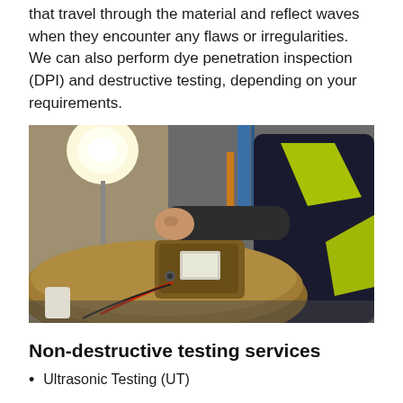that travel through the material and reflect waves when they encounter any flaws or irregularities. We can also perform dye penetration inspection (DPI) and destructive testing, depending on your requirements.
[Figure (photo): A technician wearing a high-visibility vest using an ultrasonic testing device on a large pipe in an industrial setting, with a bright work light in the background.]
Non-destructive testing services
Ultrasonic Testing (UT)